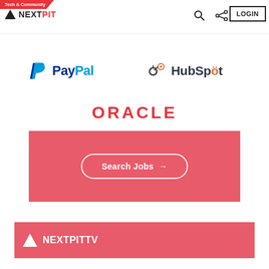Tech & Community | NEXTPIT | LOGIN
[Figure (logo): PayPal logo with blue P icon and PayPal text in blue]
[Figure (logo): HubSpot logo with orange sprocket and dark text]
[Figure (logo): Oracle logo in red text]
[Figure (other): Red banner with Search Jobs button and arrow]
[Figure (logo): NextPIT TV banner in red with white triangle and NEXTPITTV text]